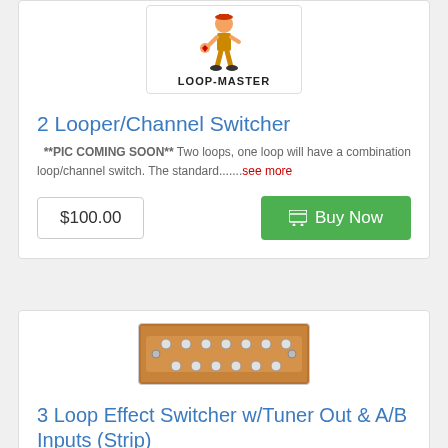[Figure (logo): Loop-Master logo with cartoon character and bold text LOOP-MASTER]
2 Looper/Channel Switcher
**PIC COMING SOON** Two loops, one loop will have a combination loop/channel switch. The standard.......see more
$100.00
Buy Now
[Figure (photo): Photo of a strip-style loop effect switcher hardware unit, rectangular metal box with multiple jacks]
3 Loop Effect Switcher w/Tuner Out & A/B Inputs (Strip)
Wanna be able to switch between two instruments quickly without unplugging? Wanna